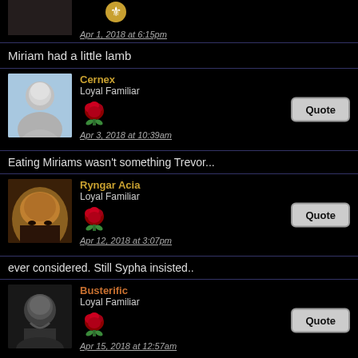Apr 1, 2018 at 6:15pm
Miriam had a little lamb
Cernex
Loyal Familiar
Apr 3, 2018 at 10:39am
Eating Miriams wasn't something Trevor...
Ryngar Acia
Loyal Familiar
Apr 12, 2018 at 3:07pm
ever considered. Still Sypha insisted..
Busterific
Loyal Familiar
Apr 15, 2018 at 12:57am